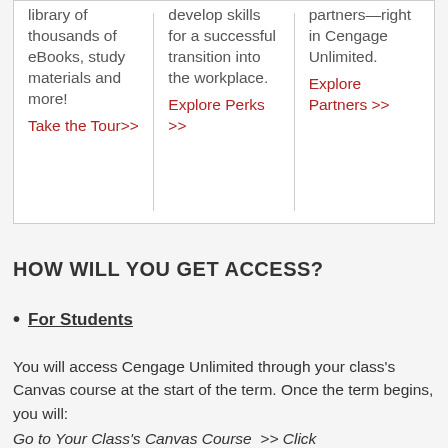library of thousands of eBooks, study materials and more! Take the Tour>>
develop skills for a successful transition into the workplace. Explore Perks >>
partners—right in Cengage Unlimited. Explore Partners >>
HOW WILL YOU GET ACCESS?
For Students
You will access Cengage Unlimited through your class's Canvas course at the start of the term. Once the term begins, you will:
Go to Your Class's Canvas Course  >> Click